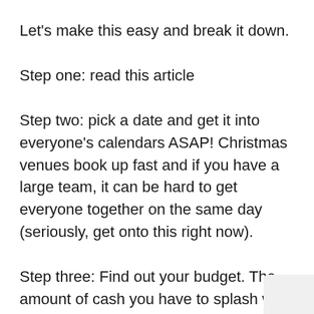Let's make this easy and break it down.
Step one: read this article
Step two: pick a date and get it into everyone's calendars ASAP! Christmas venues book up fast and if you have a large team, it can be hard to get everyone together on the same day (seriously, get onto this right now).
Step three: Find out your budget. The amount of cash you have to splash will